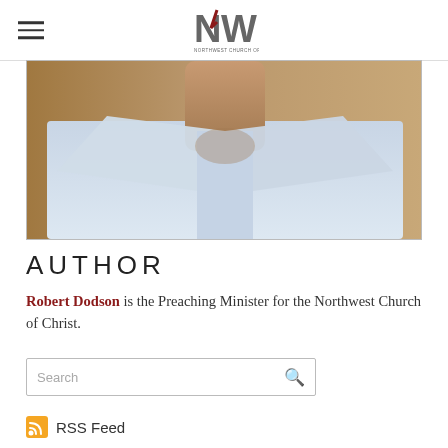NW (Northwest Church of Christ logo)
[Figure (photo): Close-up photo of a man's neck and collar area wearing a light blue/white dress shirt, cropped above the chin]
AUTHOR
Robert Dodson is the Preaching Minister for the Northwest Church of Christ.
Search
RSS Feed